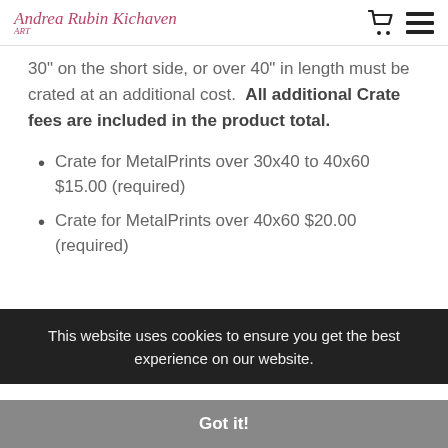Andrea Rubin Kichaven ART
30" on the short side, or over 40" in length must be crated at an additional cost. All additional Crate fees are included in the product total.
Crate for MetalPrints over 30x40 to 40x60 $15.00 (required)
Crate for MetalPrints over 40x60 $20.00 (required)
This website uses cookies to ensure you get the best experience on our website.
Got it!